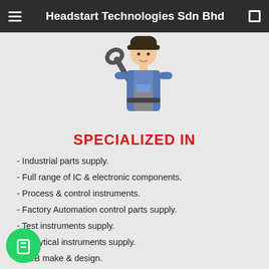Headstart Technologies Sdn Bhd
[Figure (illustration): Mechanic/technician icon holding a wrench, wearing blue overalls]
SPECIALIZED IN
- Industrial parts supply.
- Full range of IC & electronic components.
- Process & control instruments.
- Factory Automation control parts supply.
- Test instruments supply.
- Analytical instruments supply.
- PCB make & design.
- System integration & project design.